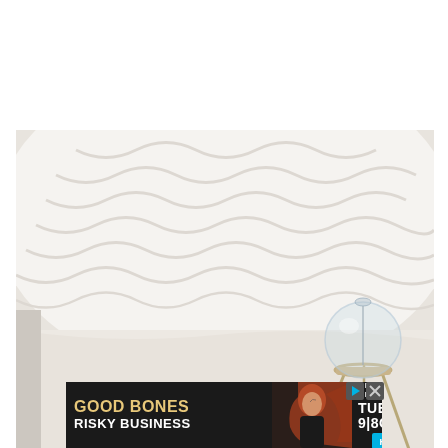[Figure (photo): Close-up photo of a white textured decorative pillow or cushion on a white surface, with a glass globe terrarium on a gold tripod stand in the foreground]
[Figure (photo): Advertisement banner for HGTV show 'Good Bones Risky Business' - Special Series Tuesday 9|8c. Shows a woman with red hair against dark background, with HGTV logo, play button and close button icons.]